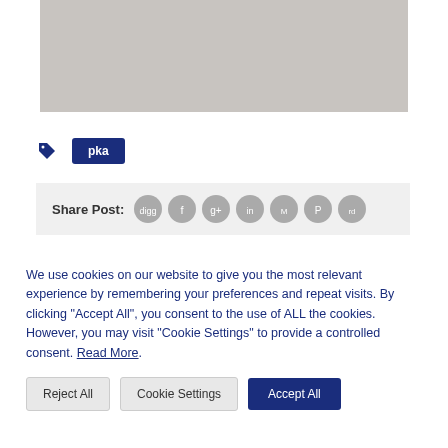[Figure (photo): Gray-toned photograph or image area, content indistinct]
pka
Share Post:
We use cookies on our website to give you the most relevant experience by remembering your preferences and repeat visits. By clicking "Accept All", you consent to the use of ALL the cookies. However, you may visit "Cookie Settings" to provide a controlled consent. Read More.
Reject All | Cookie Settings | Accept All